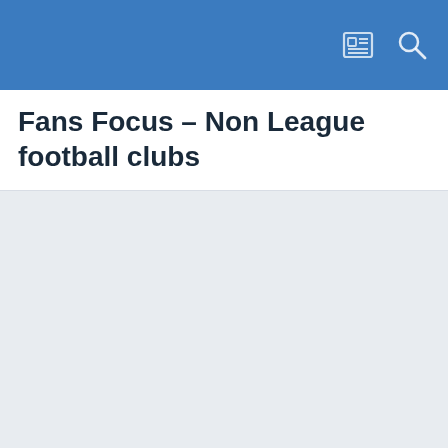Fans Focus - Non League football clubs
Fans Focus - Non League football clubs